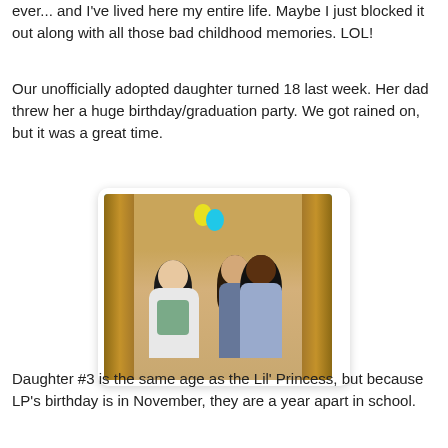ever... and I've lived here my entire life. Maybe I just blocked it out along with all those bad childhood memories. LOL!
Our unofficially adopted daughter turned 18 last week. Her dad threw her a huge birthday/graduation party. We got rained on, but it was a great time.
[Figure (photo): Three young women standing together indoors near a wooden-framed window or doorway with blue sky visible behind them. Left: woman with dark hair and white cardigan. Middle: woman with dark hair and teal crop top. Right: woman with long dark hair and patterned top, smiling broadly.]
Daughter #3 is the same age as the Lil' Princess, but because LP's birthday is in November, they are a year apart in school.